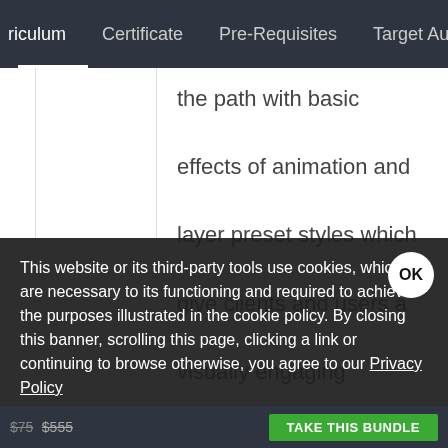riculum   Certificate   Pre-Requisites   Target Audie
the path with basic effects of animation and layer preset styles which give clients and users a visually engaging experience. We can have total control of how the
This website or its third-party tools use cookies, which are necessary to its functioning and required to achieve the purposes illustrated in the cookie policy. By closing this banner, scrolling this page, clicking a link or continuing to browse otherwise, you agree to our Privacy Policy
$75 $555   TAKE THIS BUNDLE